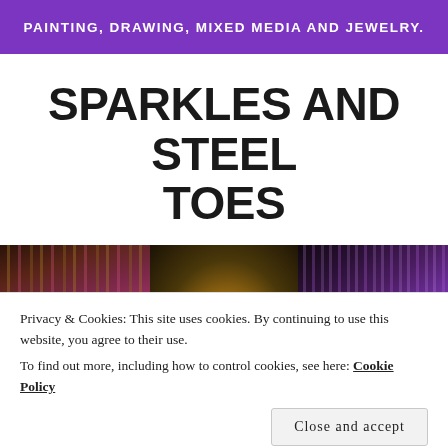PAINTING, DRAWING, MIXED MEDIA AND JEWELRY.
SPARKLES AND STEEL TOES
[Figure (photo): Three-panel photo strip: left panel shows hanging bead strings in warm brown/pink tones, center panel shows ornate golden architectural ceiling detail with an oval light, right panel shows illuminated vertical decorative elements in purple/dark tones.]
Privacy & Cookies: This site uses cookies. By continuing to use this website, you agree to their use.
To find out more, including how to control cookies, see here: Cookie Policy
Close and accept